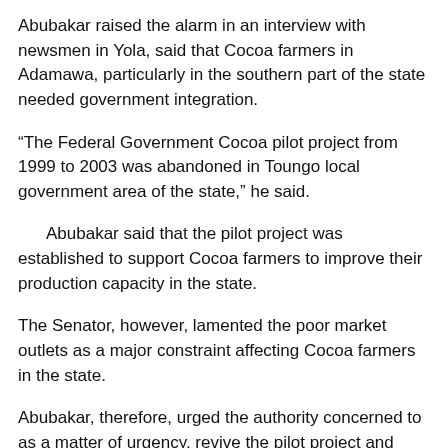Abubakar raised the alarm in an interview with newsmen in Yola, said that Cocoa farmers in Adamawa, particularly in the southern part of the state needed government integration.
“The Federal Government Cocoa pilot project from 1999 to 2003 was abandoned in Toungo local government area of the state,” he said.
Abubakar said that the pilot project was established to support Cocoa farmers to improve their production capacity in the state.
The Senator, however, lamented the poor market outlets as a major constraint affecting Cocoa farmers in the state.
Abubakar, therefore, urged the authority concerned to as a matter of urgency, revive the pilot project and support the farmers.
Cocoa is a household cash crop and key agriculture produce in Nigeria. It is used for local consumption and is also exported which generates foreign exchange for the country.